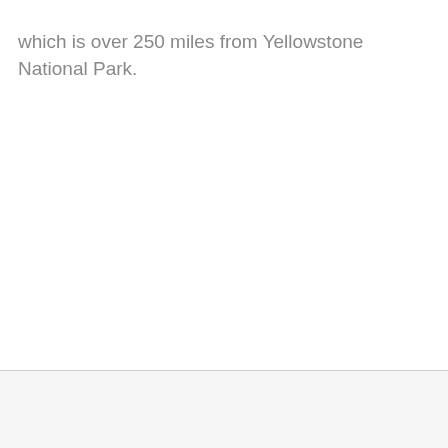which is over 250 miles from Yellowstone National Park.
[Figure (other): Advertisement banner for Tally app — shows Tally logo with tagline 'Fast credit card payoff' and a 'Download Now' button with arrow.]